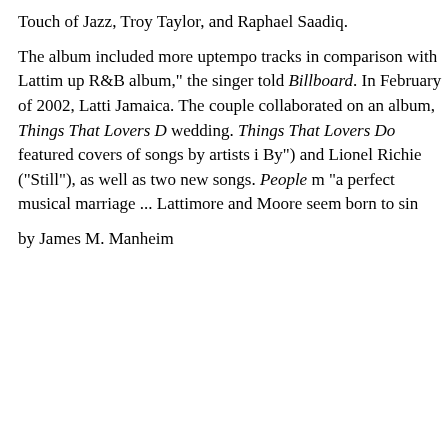Touch of Jazz, Troy Taylor, and Raphael Saadiq.
The album included more uptempo tracks in comparison with Lattim up R&B album," the singer told Billboard. In February of 2002, Latti Jamaica. The couple collaborated on an album, Things That Lovers D wedding. Things That Lovers Do featured covers of songs by artists i By") and Lionel Richie ("Still"), as well as two new songs. People m "a perfect musical marriage ... Lattimore and Moore seem born to sin
by James M. Manheim